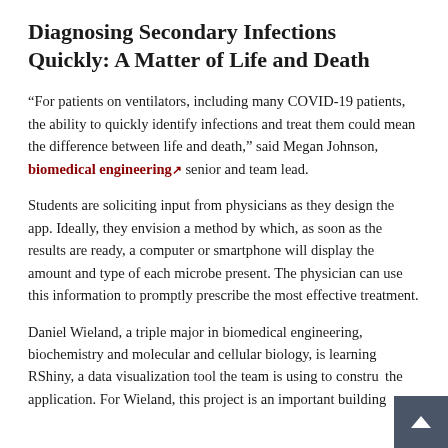Diagnosing Secondary Infections Quickly: A Matter of Life and Death
“For patients on ventilators, including many COVID-19 patients, the ability to quickly identify infections and treat them could mean the difference between life and death,” said Megan Johnson, biomedical engineering senior and team lead.
Students are soliciting input from physicians as they design the app. Ideally, they envision a method by which, as soon as the results are ready, a computer or smartphone will display the amount and type of each microbe present. The physician can use this information to promptly prescribe the most effective treatment.
Daniel Wieland, a triple major in biomedical engineering, biochemistry and molecular and cellular biology, is learning RShiny, a data visualization tool the team is using to construct the application. For Wieland, this project is an important building